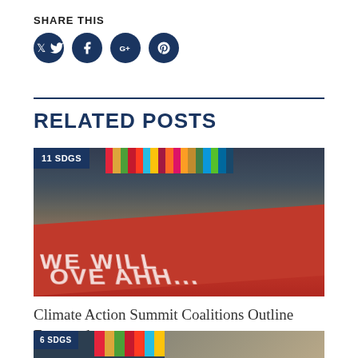SHARE THIS
[Figure (illustration): Social media share icons: Twitter, Facebook, Google+, Pinterest — dark navy circular buttons]
RELATED POSTS
[Figure (photo): Climate Action Summit photo showing crowd of protesters holding a large red banner, with SDG color stripes and '11 SDGS' badge overlay]
Climate Action Summit Coalitions Outline Expected ...
7 May 2019 |
[Figure (photo): Second related post image partially visible at bottom, showing SDG color stripes and partial badge text]